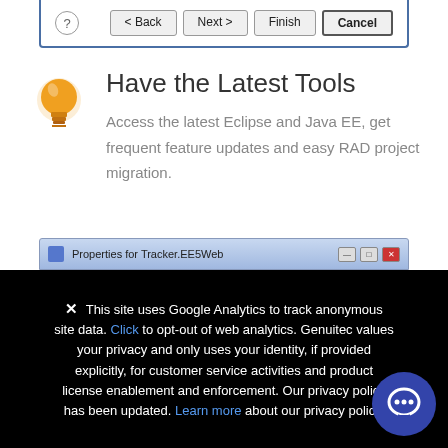[Figure (screenshot): Dialog box bottom bar with Back, Next, Finish, Cancel buttons and a help icon]
Have the Latest Tools
Access the latest Eclipse and Java EE, get frequent feature updates and easy RAD project migration.
[Figure (screenshot): Properties for Tracker.EE5Web window title bar screenshot]
✕ This site uses Google Analytics to track anonymous site data. Click to opt-out of web analytics. Genuitec values your privacy and only uses your identity, if provided explicitly, for customer service activities and product license enablement and enforcement. Our privacy policy has been updated. Learn more about our privacy policy.